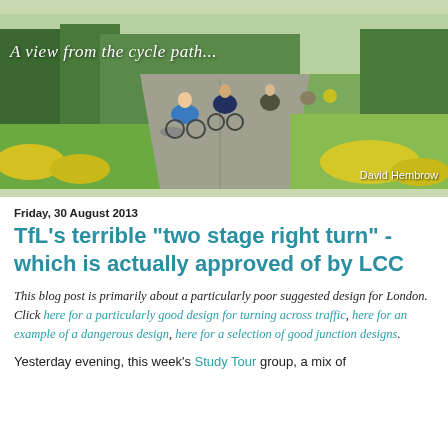[Figure (photo): Blog header photo showing cyclists riding on a dedicated cycle path through a green landscape with trees and yellow flowers. Text overlay reads 'A view from the cycle path...' and credit 'David Hembrow' in bottom right.]
Friday, 30 August 2013
TfL's terrible "two stage right turn" - which is actually approved of by LCC
This blog post is primarily about a particularly poor suggested design for London. Click here for a particularly good design for turning across traffic, here for an example of a dangerous design, here for a selection of good junction designs.
Yesterday evening, this week's Study Tour group, a mix of